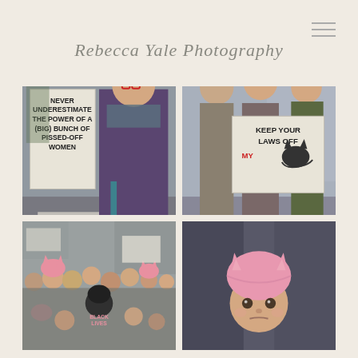Rebecca Yale Photography
[Figure (photo): Woman at Women's March holding a sign reading 'NEVER UNDERESTIMATE THE POWER OF A (BIG) BUNCH OF PISSED-OFF WOMEN', wearing glasses, red frames, purple coat, teal scarf, smiling]
[Figure (photo): Three people at Women's March, one wearing a pink pussy hat, holding a sign reading 'KEEP YOUR LAWS OFF MY [cat drawing]']
[Figure (photo): Crowd scene at Women's March, many people with signs and pink pussy hats]
[Figure (photo): Close-up of a young child wearing a pink pussy hat at Women's March]